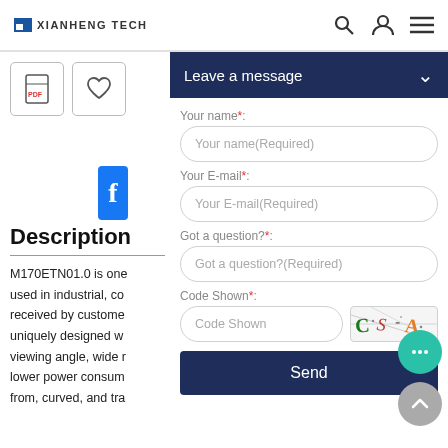XIANHENG TECH
[Figure (screenshot): Two icon buttons: PDF download and heart/favorite, plus a Facebook share button]
Description
M170ETN01.0 is one used in industrial, co received by custome uniquely designed w viewing angle, wide lower power consum from, curved, and tra
[Figure (screenshot): Leave a message contact form overlay with fields: Your name (Required), Your E-mail (Required), Got a question? (Required), Code Shown (captcha), and a Send button. Teal chat bubble and grey scroll-to-top button visible.]